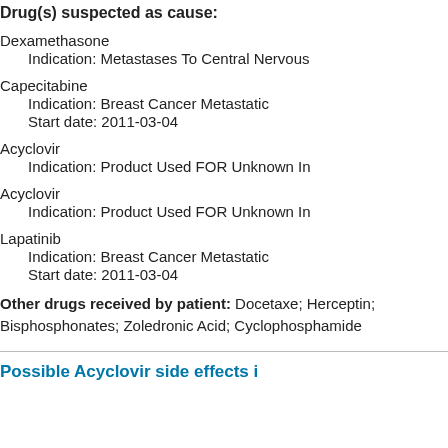Drug(s) suspected as cause:
Dexamethasone
    Indication: Metastases To Central Nervous
Capecitabine
    Indication: Breast Cancer Metastatic
    Start date: 2011-03-04
Acyclovir
    Indication: Product Used FOR Unknown In
Acyclovir
    Indication: Product Used FOR Unknown In
Lapatinib
    Indication: Breast Cancer Metastatic
    Start date: 2011-03-04
Other drugs received by patient: Docetaxe; Herceptin; Bisphosphonates; Zoledronic Acid; Cyclophosphamide
Possible Acyclovir side effects i